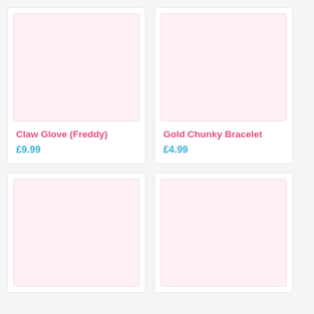[Figure (photo): Product image placeholder for Claw Glove (Freddy) — light pink background]
Claw Glove (Freddy)
£9.99
[Figure (photo): Product image placeholder for Gold Chunky Bracelet — light pink background]
Gold Chunky Bracelet
£4.99
[Figure (photo): Product image placeholder bottom-left — light pink background]
[Figure (photo): Product image placeholder bottom-right — light pink background]